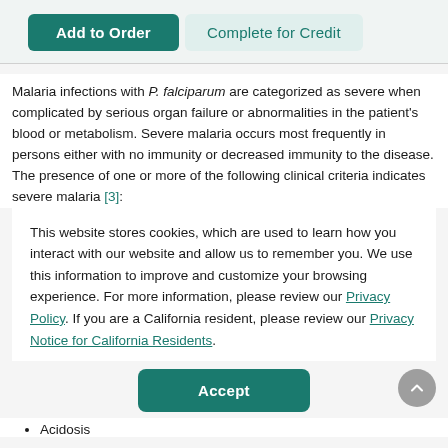Add to Order | Complete for Credit
Malaria infections with P. falciparum are categorized as severe when complicated by serious organ failure or abnormalities in the patient's blood or metabolism. Severe malaria occurs most frequently in persons either with no immunity or decreased immunity to the disease. The presence of one or more of the following clinical criteria indicates severe malaria [3]:
This website stores cookies, which are used to learn how you interact with our website and allow us to remember you. We use this information to improve and customize your browsing experience. For more information, please review our Privacy Policy. If you are a California resident, please review our Privacy Notice for California Residents.
Accept
Acidosis